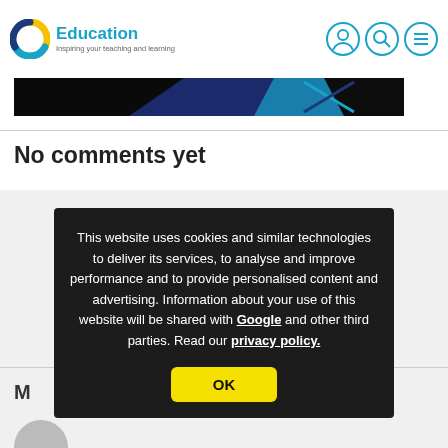C Education — Inspiring your teaching and learning
[Figure (screenshot): Dark banner image with blue diagonal stripe pattern]
No comments yet
[Figure (illustration): Comment form area with grey person avatar icon]
This website uses cookies and similar technologies to deliver its services, to analyse and improve performance and to provide personalised content and advertising. Information about your use of this website will be shared with Google and other third parties. Read our privacy policy.
OK